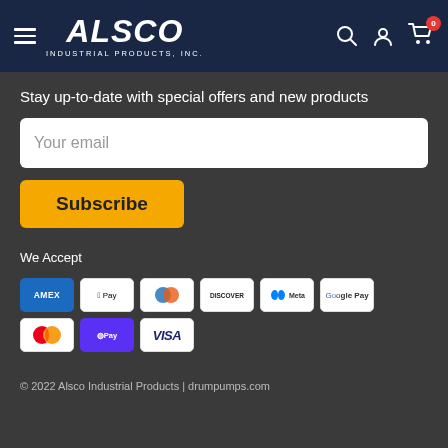ALSCO INDUSTRIAL PRODUCTS, INC.
Stay up-to-date with special offers and new products
Your email
Subscribe
We Accept
[Figure (infographic): Payment method logos: AMEX, Apple Pay, Diners Club, Discover, Meta Pay, Google Pay, Mastercard, Shop Pay, Visa]
© 2022 Alsco Industrial Products | drumpumps.com